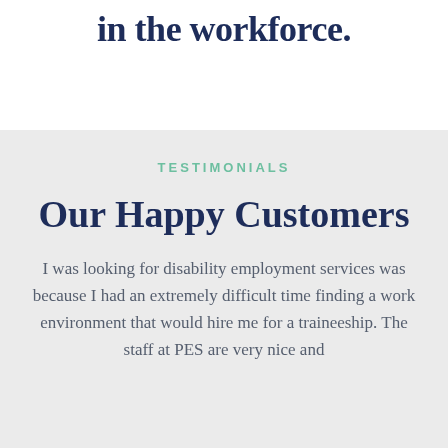in the workforce.
TESTIMONIALS
Our Happy Customers
I was looking for disability employment services was because I had an extremely difficult time finding a work environment that would hire me for a traineeship. The staff at PES are very nice and